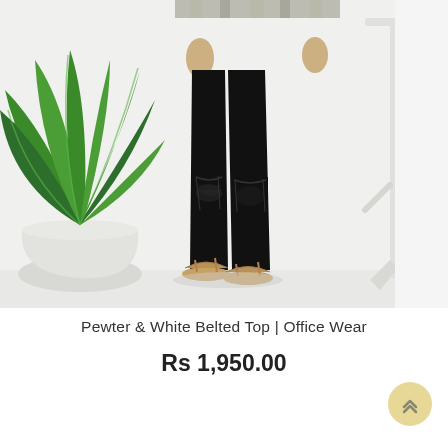[Figure (photo): Product photo showing lower half of a person wearing black ripped skinny jeans and tan sandals, with a green potted plant on the left and a white mirror frame on the right, against a white background.]
Pewter & White Belted Top | Office Wear
Rs 1,950.00